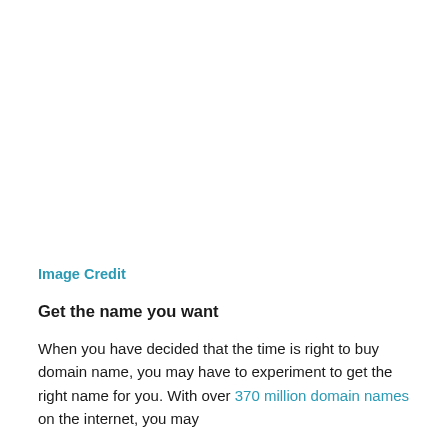Image Credit
Get the name you want
When you have decided that the time is right to buy domain name, you may have to experiment to get the right name for you. With over 370 million domain names on the internet, you may